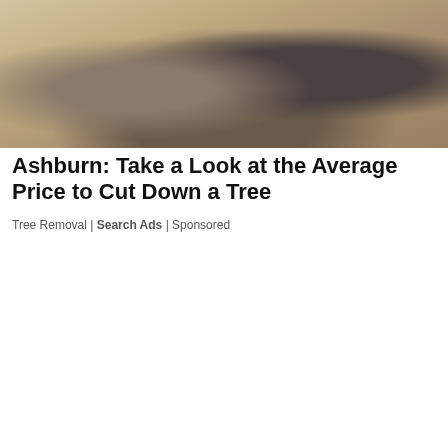[Figure (photo): Close-up photo of a small animal (likely a groundhog or prairie dog) on sandy/rocky ground]
Ashburn: Take a Look at the Average Price to Cut Down a Tree
Tree Removal | Search Ads | Sponsored
[Figure (screenshot): Thumbnail strip of various images]
We Use Cookies and Related Technology
Slate and our partners use cookies and related technology to deliver relevant advertising on our site, in emails and across the Internet. We and our partners also use these technologies to personalize content and perform site analytics. For more information, see our terms and privacy policy. Privacy Policy
OK